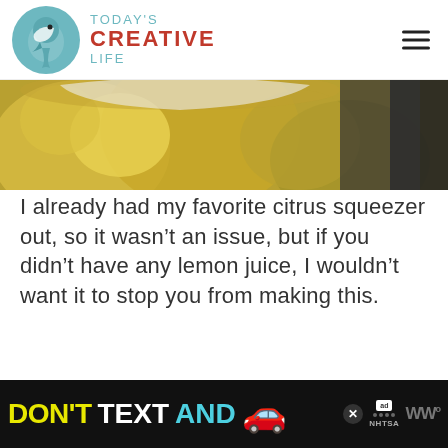TODAY'S CREATIVE LIFE
[Figure (photo): Close-up photo of lemons in a bowl, with Today's Creative Life watermark logo in bottom right corner]
I already had my favorite citrus squeezer out, so it wasn't an issue, but if you didn't have any lemon juice, I wouldn't want it to stop you from making this.
[Figure (screenshot): Ad banner at bottom: DON'T TEXT AND [car emoji] with NHTSA logo and close button]